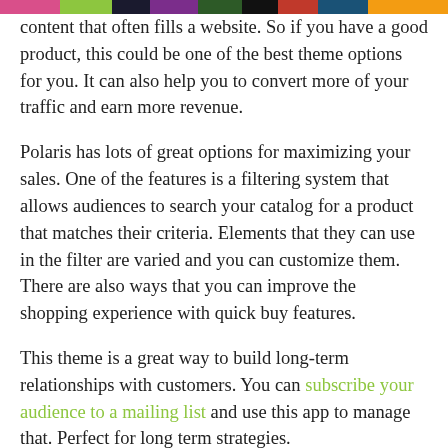[Figure (other): Decorative colored bar at the top with segments of pink, green, dark navy, purple, dark green, black, and other colors]
content that often fills a website. So if you have a good product, this could be one of the best theme options for you. It can also help you to convert more of your traffic and earn more revenue.
Polaris has lots of great options for maximizing your sales. One of the features is a filtering system that allows audiences to search your catalog for a product that matches their criteria. Elements that they can use in the filter are varied and you can customize them. There are also ways that you can improve the shopping experience with quick buy features.
This theme is a great way to build long-term relationships with customers. You can subscribe your audience to a mailing list and use this app to manage that. Perfect for long term strategies.